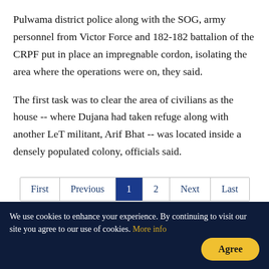Pulwama district police along with the SOG, army personnel from Victor Force and 182-182 battalion of the CRPF put in place an impregnable cordon, isolating the area where the operations were on, they said.
The first task was to clear the area of civilians as the house -- where Dujana had taken refuge along with another LeT militant, Arif Bhat -- was located inside a densely populated colony, officials said.
First | Previous | 1 | 2 | Next | Last
We use cookies to enhance your experience. By continuing to visit our site you agree to our use of cookies. More info